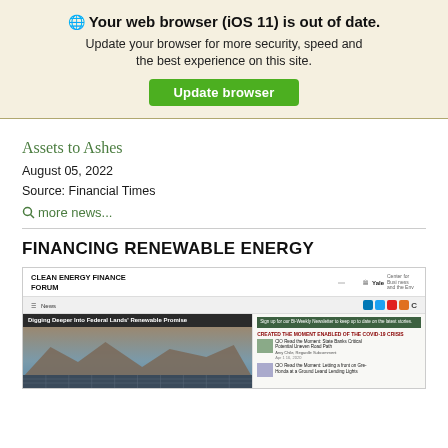🌐 Your web browser (iOS 11) is out of date.
Update your browser for more security, speed and the best experience on this site.
Update browser
Assets to Ashes
August 05, 2022
Source: Financial Times
🔍 more news...
FINANCING RENEWABLE ENERGY
[Figure (screenshot): Screenshot of the Clean Energy Finance Forum website (Yale Center for Business and the Environment), showing a navigation bar with social media icons, and an article titled 'Digging Deeper Into Federal Lands' Renewable Promise' with a landscape photo of solar panels and mountains, plus sidebar content.]